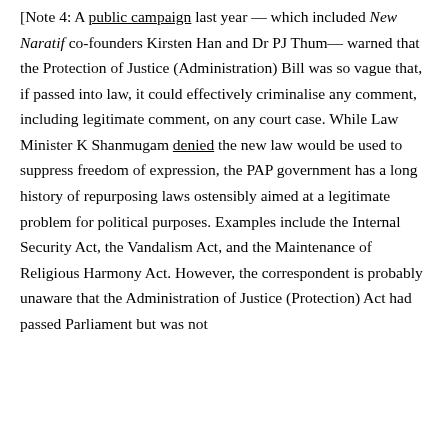[Note 4: A public campaign last year — which included New Naratif co-founders Kirsten Han and Dr PJ Thum— warned that the Protection of Justice (Administration) Bill was so vague that, if passed into law, it could effectively criminalise any comment, including legitimate comment, on any court case. While Law Minister K Shanmugam denied the new law would be used to suppress freedom of expression, the PAP government has a long history of repurposing laws ostensibly aimed at a legitimate problem for political purposes. Examples include the Internal Security Act, the Vandalism Act, and the Maintenance of Religious Harmony Act. However, the correspondent is probably unaware that the Administration of Justice (Protection) Act had passed Parliament but was not